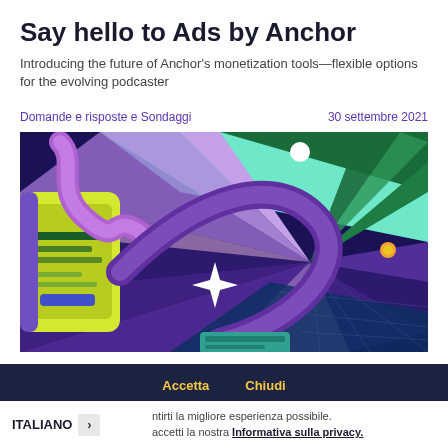Say hello to Ads by Anchor
Introducing the future of Anchor's monetization tools—flexible options for the evolving podcaster
Domande e risposte e Sondaggi
30 settembre 2021
[Figure (illustration): Colorful abstract illustration with purple, green, teal, yellow and pink tones showing a stylized perspective tunnel scene with a mobile phone, geometric shapes, stars and radiating lines]
Accetta    Chiudi
ITALIANO  >  ...ntirti la migliore esperienza possibile. ...accetti la nostra Informativa sulla privacy.